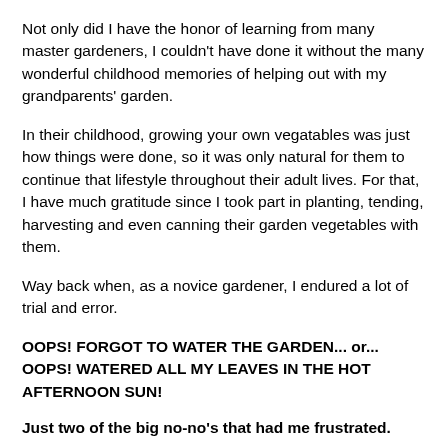Not only did I have the honor of learning from many master gardeners, I couldn't have done it without the many wonderful childhood memories of helping out with my grandparents' garden.
In their childhood, growing your own vegatables was just how things were done, so it was only natural for them to continue that lifestyle throughout their adult lives. For that, I have much gratitude since I took part in planting, tending, harvesting and even canning their garden vegetables with them.
Way back when, as a novice gardener, I endured a lot of trial and error.
OOPS! FORGOT TO WATER THE GARDEN... or... OOPS! WATERED ALL MY LEAVES IN THE HOT AFTERNOON SUN!
Just two of the big no-no's that had me frustrated.
Well, it lived, but some days I didn't know that there was a certain starting...